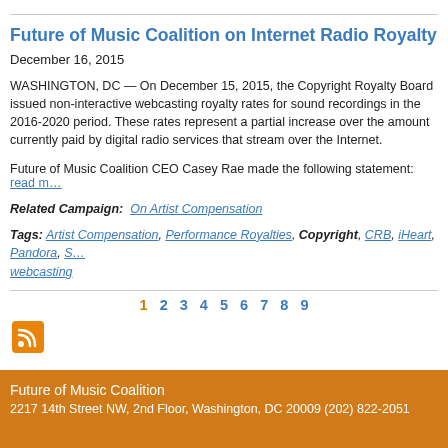Future of Music Coalition on Internet Radio Royalty Decis…
December 16, 2015
WASHINGTON, DC — On December 15, 2015, the Copyright Royalty Board issued non-interactive webcasting royalty rates for sound recordings in the 2016-2020 period. These rates represent a partial increase over the amount currently paid by digital radio services that stream over the Internet.
Future of Music Coalition CEO Casey Rae made the following statement: read m…
Related Campaign: On Artist Compensation
Tags: Artist Compensation, Performance Royalties, Copyright, CRB, iHeart, Pandora, S… webcasting
[Figure (other): Pagination bar with page numbers 1 through 9, page 1 highlighted in orange]
[Figure (other): RSS feed icon (orange square with white RSS symbol)]
Future of Music Coalition
2217 14th Street NW, 2nd Floor, Washington, DC 20009 (202) 822-2051